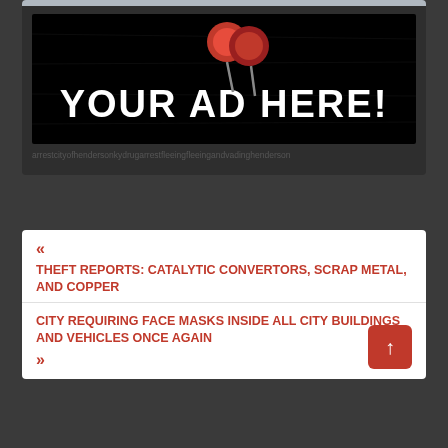[Figure (illustration): Advertisement banner with dark/black background, red pushpin graphic at top center, large white bold text reading 'YOUR AD HERE!']
arrestcityofhendersonkydrugarrestfleeingfleeingandvadinghenderson
« THEFT REPORTS: CATALYTIC CONVERTORS, SCRAP METAL, AND COPPER
CITY REQUIRING FACE MASKS INSIDE ALL CITY BUILDINGS AND VEHICLES ONCE AGAIN »